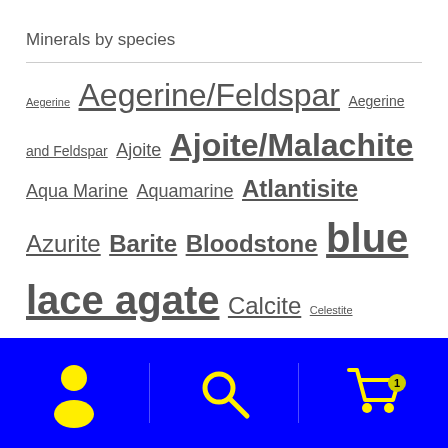Minerals by species
Aegerine Aegerine/Feldspar Aegerine and Feldspar Ajoite Ajoite/Malachite Aqua Marine Aquamarine Atlantisite Azurite Barite Bloodstone blue lace agate Calcite Celestite Chrysocolla Colbaltion Calcite Colboltion Calcite Cuprite Dioptase Druzzy Quartz Emerald Emerald/Mica Epidote Feldspar Fluorite Fuchsite Galena Garnet Green Opal Hyline Opal Leopard Fluorite lithothonite
Navigation bar with user, search, and cart icons